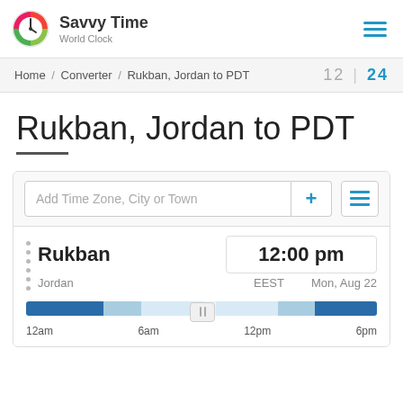Savvy Time World Clock
Home / Converter / Rukban, Jordan to PDT  12 | 24
Rukban, Jordan to PDT
Add Time Zone, City or Town
Rukban  12:00 pm  Jordan  EEST  Mon, Aug 22
[Figure (infographic): A horizontal timeline/slider bar showing 24 hours from 12am to 6pm with dark blue night sections, light blue dawn/dusk sections, and very light blue day sections. A slider handle is positioned at 12pm.]